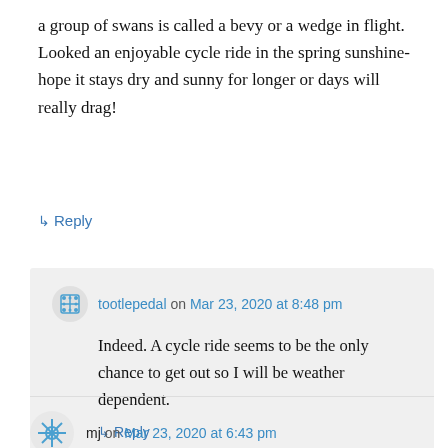a group of swans is called a bevy or a wedge in flight. Looked an enjoyable cycle ride in the spring sunshine- hope it stays dry and sunny for longer or days will really drag!
↳ Reply
tootlepedal on Mar 23, 2020 at 8:48 pm
Indeed. A cycle ride seems to be the only chance to get out so I will be weather dependent.
↳ Reply
mj on Mar 23, 2020 at 6:43 pm